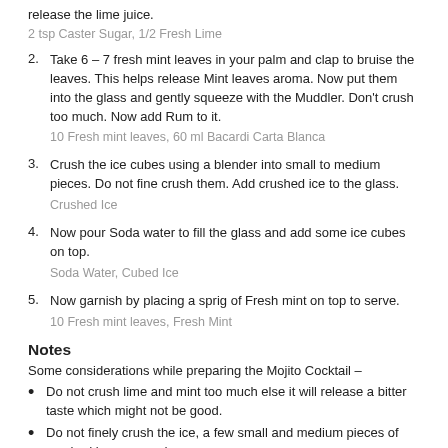release the lime juice.
2 tsp Caster Sugar, 1/2 Fresh Lime
Take 6 – 7 fresh mint leaves in your palm and clap to bruise the leaves. This helps release Mint leaves aroma. Now put them into the glass and gently squeeze with the Muddler. Don't crush too much. Now add Rum to it.
10 Fresh mint leaves, 60 ml Bacardi Carta Blanca
Crush the ice cubes using a blender into small to medium pieces. Do not fine crush them. Add crushed ice to the glass.
Crushed Ice
Now pour Soda water to fill the glass and add some ice cubes on top.
Soda Water, Cubed Ice
Now garnish by placing a sprig of Fresh mint on top to serve.
10 Fresh mint leaves, Fresh Mint
Notes
Some considerations while preparing the Mojito Cocktail –
Do not crush lime and mint too much else it will release a bitter taste which might not be good.
Do not finely crush the ice, a few small and medium pieces of crushed ice are good.